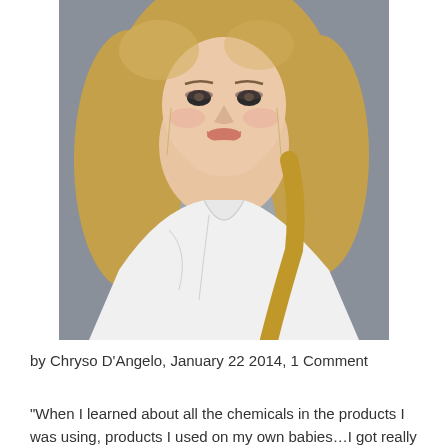[Figure (photo): Portrait photo of a blonde woman wearing a white draped top, with long wavy hair and dangling earrings, smiling at the camera against a grey background.]
by Chryso D'Angelo, January 22 2014, 1 Comment
“When I learned about all the chemicals in the products I was using, products I used on my own babies…I got really